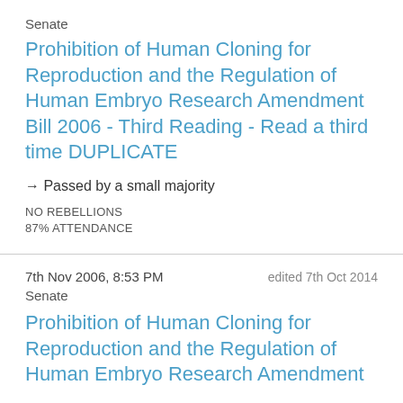Senate
Prohibition of Human Cloning for Reproduction and the Regulation of Human Embryo Research Amendment Bill 2006 - Third Reading - Read a third time DUPLICATE
→ Passed by a small majority
NO REBELLIONS
87% ATTENDANCE
7th Nov 2006, 8:53 PM
edited 7th Oct 2014
Senate
Prohibition of Human Cloning for Reproduction and the Regulation of Human Embryo Research Amendment